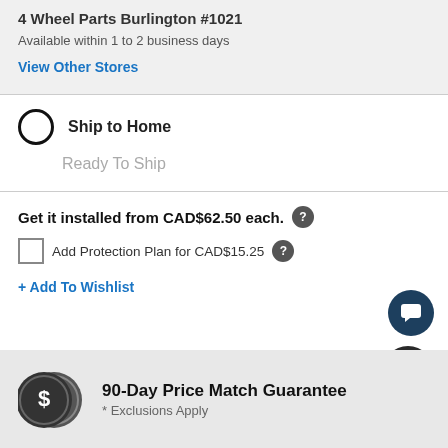4 Wheel Parts Burlington #1021
Available within 1 to 2 business days
View Other Stores
Ship to Home
Ready To Ship
Get it installed from CAD$62.50 each.
Add Protection Plan for CAD$15.25
+ Add To Wishlist
90-Day Price Match Guarantee
* Exclusions Apply